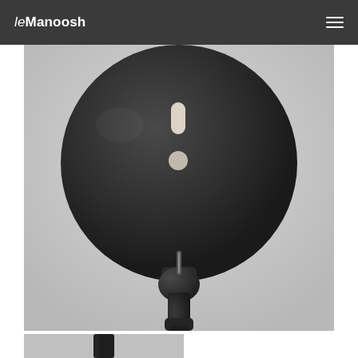leManoosh
[Figure (photo): Close-up product photo of a matte black spherical lamp head with two small LED indicator slots (one rectangular, one circular), connected to a black cylindrical stem/neck. Background is light gray.]
[Figure (photo): Partial view of the bottom of the lamp showing the black stem continuing downward, cropped at the bottom of the page.]